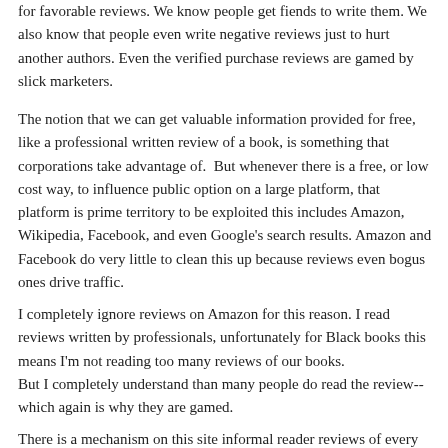for favorable reviews. We know people get fiends to write them. We also know that people even write negative reviews just to hurt another authors. Even the verified purchase reviews are gamed by slick marketers.
The notion that we can get valuable information provided for free, like a professional written review of a book, is something that corporations take advantage of.  But whenever there is a free, or low cost way, to influence public option on a large platform, that platform is prime territory to be exploited this includes Amazon, Wikipedia, Facebook, and even Google's search results. Amazon and Facebook do very little to clean this up because reviews even bogus ones drive traffic.
I completely ignore reviews on Amazon for this reason. I read reviews written by professionals, unfortunately for Black books this means I'm not reading too many reviews of our books.
But I completely understand than many people do read the review-- which again is why they are gamed.
There is a mechanism on this site informal reader reviews of every